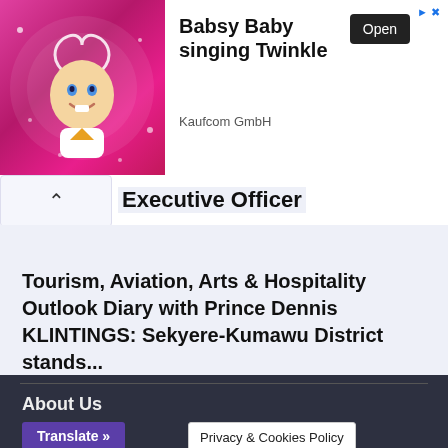[Figure (illustration): Ad banner showing animated baby character with heart halo on pink sparkly background. Text: 'Babsy Baby singing Twinkle', 'Kaufcom GmbH', with 'Open' button.]
Executive Officer
Tourism, Aviation, Arts & Hospitality Outlook Diary with Prince Dennis KLINTINGS: Sekyere-Kumawu District stands...
About Us
Translate »
Privacy & Cookies Policy